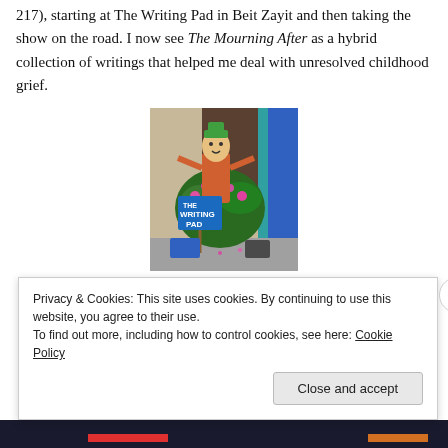217), starting at The Writing Pad in Beit Zayit and then taking the show on the road. I now see The Mourning After as a hybrid collection of writings that helped me deal with unresolved childhood grief.
[Figure (photo): Photograph of a scarecrow figure holding a blue sign reading 'THE WRITING PAD', surrounded by pink flowering plants outside a shop entrance.]
[Figure (screenshot): Partial dark banner/header element from a website, partially obscured by cookie consent overlay.]
Privacy & Cookies: This site uses cookies. By continuing to use this website, you agree to their use.
To find out more, including how to control cookies, see here: Cookie Policy